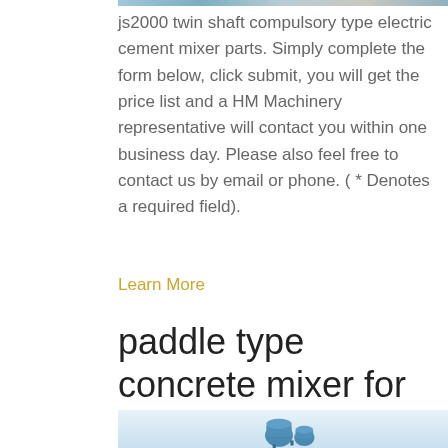[Figure (photo): Partial image of js2000 twin shaft compulsory type electric cement mixer at top of page]
js2000 twin shaft compulsory type electric cement mixer parts. Simply complete the form below, click submit, you will get the price list and a HM Machinery representative will contact you within one business day. Please also feel free to contact us by email or phone. ( * Denotes a required field).
Learn More
paddle type concrete mixer for ordinary construction sites
[Figure (photo): Partial image of a paddle type concrete mixer at the bottom of the page]